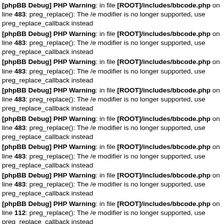[phpBB Debug] PHP Warning: in file [ROOT]/includes/bbcode.php on line 483: preg_replace(): The /e modifier is no longer supported, use preg_replace_callback instead
[phpBB Debug] PHP Warning: in file [ROOT]/includes/bbcode.php on line 483: preg_replace(): The /e modifier is no longer supported, use preg_replace_callback instead
[phpBB Debug] PHP Warning: in file [ROOT]/includes/bbcode.php on line 483: preg_replace(): The /e modifier is no longer supported, use preg_replace_callback instead
[phpBB Debug] PHP Warning: in file [ROOT]/includes/bbcode.php on line 483: preg_replace(): The /e modifier is no longer supported, use preg_replace_callback instead
[phpBB Debug] PHP Warning: in file [ROOT]/includes/bbcode.php on line 483: preg_replace(): The /e modifier is no longer supported, use preg_replace_callback instead
[phpBB Debug] PHP Warning: in file [ROOT]/includes/bbcode.php on line 483: preg_replace(): The /e modifier is no longer supported, use preg_replace_callback instead
[phpBB Debug] PHP Warning: in file [ROOT]/includes/bbcode.php on line 483: preg_replace(): The /e modifier is no longer supported, use preg_replace_callback instead
[phpBB Debug] PHP Warning: in file [ROOT]/includes/bbcode.php on line 112: preg_replace(): The /e modifier is no longer supported, use preg_replace_callback instead
[phpBB Debug] PHP Warning: in file [ROOT]/includes/bbcode.php on line 112: preg_replace(): The /e modifier is no longer supported, use preg_replace_callback instead
[phpBB Debug] PHP Warning: in file [ROOT]/includes/functions.php on line 4752: Cannot modify header information - headers already sent by (output started at [ROOT]/includes/functions.php:3887)